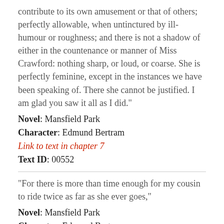contribute to its own amusement or that of others; perfectly allowable, when untinctured by ill-humour or roughness; and there is not a shadow of either in the countenance or manner of Miss Crawford: nothing sharp, or loud, or coarse. She is perfectly feminine, except in the instances we have been speaking of. There she cannot be justified. I am glad you saw it all as I did."
Novel: Mansfield Park
Character: Edmund Bertram
Link to text in chapter 7
Text ID: 00552
"For there is more than time enough for my cousin to ride twice as far as she ever goes,"
Novel: Mansfield Park
Character: Edmund Bertram
Link to text in chapter 7
Text ID: 00578
"and you have been promoting her comfort by preventing her from setting off half an hour sooner: clouds are now coming up,